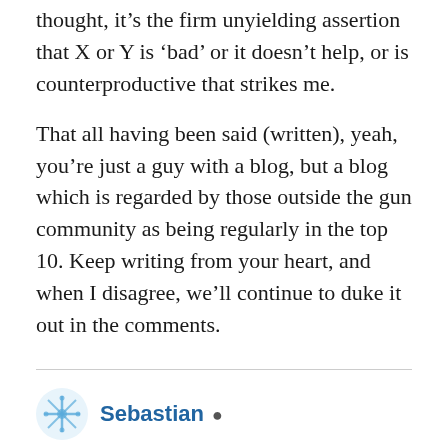thought, it’s the firm unyielding assertion that X or Y is ‘bad’ or it doesn’t help, or is counterproductive that strikes me.
That all having been said (written), yeah, you’re just a guy with a blog, but a blog which is regarded by those outside the gun community as being regularly in the top 10. Keep writing from your heart, and when I disagree, we’ll continue to duke it out in the comments.
Sebastian • Aug 21, 2009 at 3:04 pm